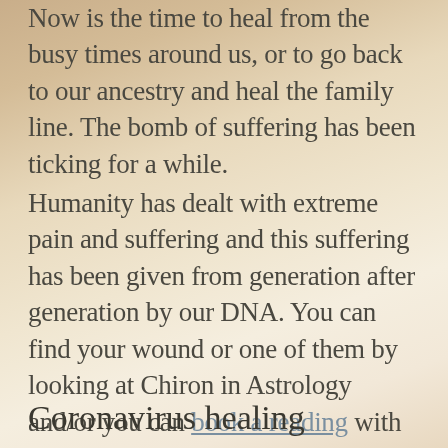Now is the time to heal from the busy times around us, or to go back to our ancestry and heal the family line. The bomb of suffering has been ticking for a while.
Humanity has dealt with extreme pain and suffering and this suffering has been given from generation after generation by our DNA. You can find your wound or one of them by looking at Chiron in Astrology and/or you can book a reading with me and I would be happy to help you further.
Coronavirus healing